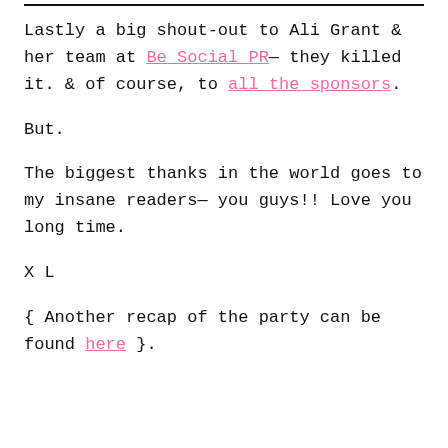Lastly a big shout-out to Ali Grant & her team at Be Social PR— they killed it. & of course, to all the sponsors.
But.
The biggest thanks in the world goes to my insane readers— you guys!! Love you long time.
X L
{ Another recap of the party can be found here }.